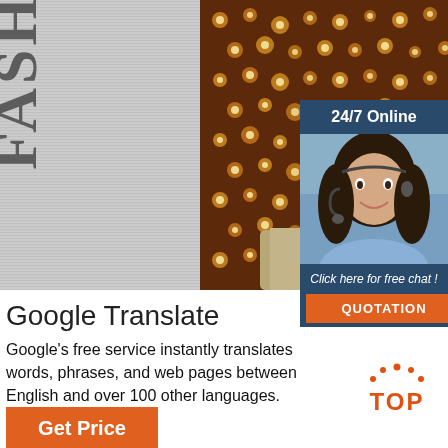[Figure (photo): Fashion clothing photo showing a floral patterned top on a mannequin against a grey textured background with rotated 'FASHION' text on the left side]
[Figure (infographic): Chat widget box with '24/7 Online' header, photo of female customer service agent with headset, 'Click here for free chat!' text, and orange QUOTATION button]
Google Translate
Google's free service instantly translates words, phrases, and web pages between English and over 100 other languages.
[Figure (other): Orange circular 'TOP' back-to-top button with dots around the top arc]
[Figure (other): Orange 'Get Price' button at the bottom left]